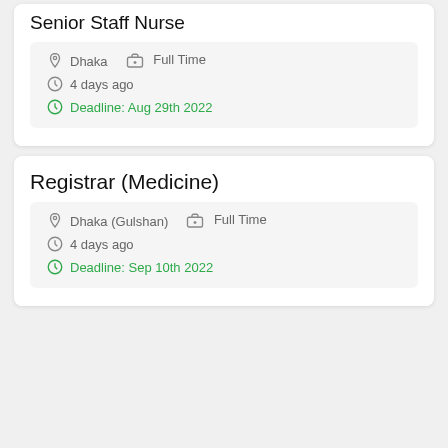Senior Staff Nurse
Dhaka   Full Time
4 days ago
Deadline: Aug 29th 2022
Registrar (Medicine)
Dhaka (Gulshan)   Full Time
4 days ago
Deadline: Sep 10th 2022